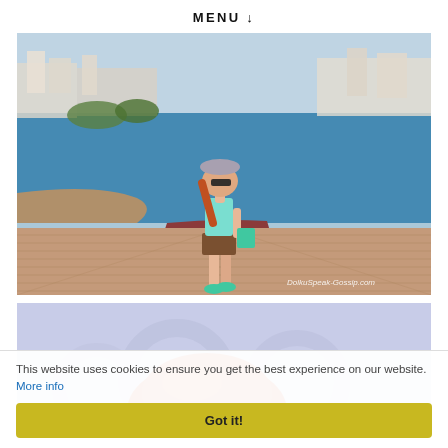MENU ↓
[Figure (photo): Woman with red hair, sunglasses, mint top, brown shorts, and mint heels standing on a waterfront boardwalk with the sea and city buildings in the background. Watermark: DolkuSpeak-Gossip.com]
[Figure (photo): Partial view of a woman with red hair, top of head visible against a light blue background with faint decorative circle pattern]
This website uses cookies to ensure you get the best experience on our website. More info
Got it!